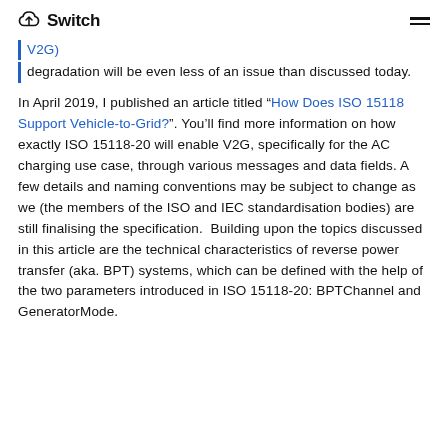Switch
V2G)
degradation will be even less of an issue than discussed today.
In April 2019, I published an article titled “How Does ISO 15118 Support Vehicle-to-Grid?”. You’ll find more information on how exactly ISO 15118-20 will enable V2G, specifically for the AC charging use case, through various messages and data fields. A few details and naming conventions may be subject to change as we (the members of the ISO and IEC standardisation bodies) are still finalising the specification. Building upon the topics discussed in this article are the technical characteristics of reverse power transfer (aka. BPT) systems, which can be defined with the help of the two parameters introduced in ISO 15118-20: BPTChannel and GeneratorMode.